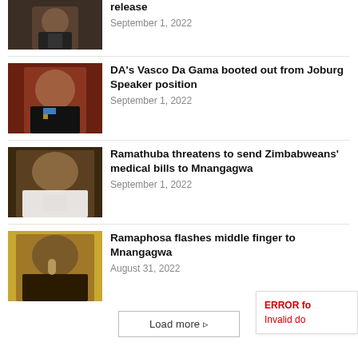[Figure (photo): Man in suit, partial view at top of page]
release
September 1, 2022
[Figure (photo): Man in suit with blue tie, Vasco Da Gama]
DA's Vasco Da Gama booted out from Joburg Speaker position
September 1, 2022
[Figure (photo): Woman speaking, Ramathuba]
Ramathuba threatens to send Zimbabweans' medical bills to Mnangagwa
September 1, 2022
[Figure (photo): Man raising finger, Ramaphosa]
Ramaphosa flashes middle finger to Mnangagwa
August 31, 2022
Load more
ERROR for
Invalid do